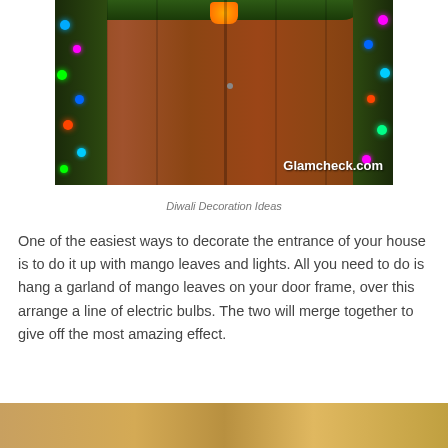[Figure (photo): A wooden door decorated with mango leaf garlands and colorful electric lights on both sides, with a Ganesha idol at the top center. Watermark reads Glamcheck.com in the bottom right corner.]
Diwali Decoration Ideas
One of the easiest ways to decorate the entrance of your house is to do it up with mango leaves and lights. All you need to do is hang a garland of mango leaves on your door frame, over this arrange a line of electric bulbs. The two will merge together to give off the most amazing effect.
[Figure (photo): Another Diwali decoration photo, partially visible at the bottom of the page.]